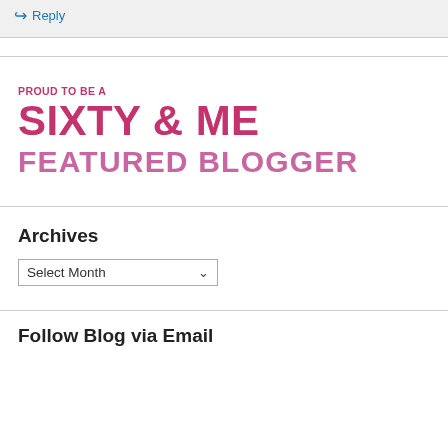↪ Reply
[Figure (logo): Sixty & Me Featured Blogger badge — text-based logo with 'PROUD TO BE A' in small magenta uppercase, 'SIXTY & ME' in large bold magenta, 'FEATURED BLOGGER' in large magenta below]
Archives
Select Month
Follow Blog via Email